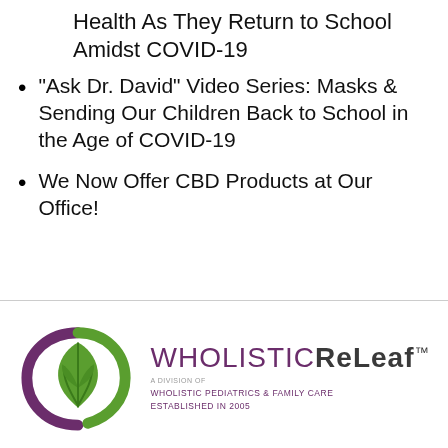Health As They Return to School Amidst COVID-19
“Ask Dr. David” Video Series: Masks & Sending Our Children Back to School in the Age of COVID-19
We Now Offer CBD Products at Our Office!
[Figure (logo): Wholistic ReLeaf logo: circular green leaf design with purple swirl, text reads WHOLISTIC RELEAF, A Division of Wholistic Pediatrics & Family Care, Established in 2005]